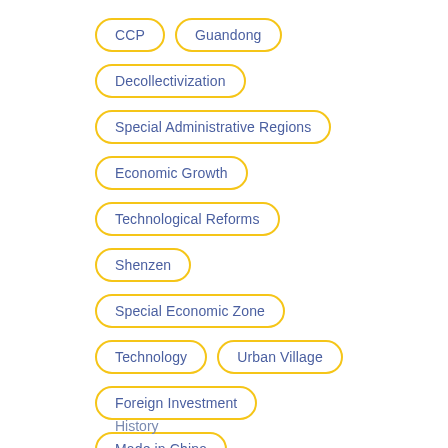CCP
Guandong
Decollectivization
Special Administrative Regions
Economic Growth
Technological Reforms
Shenzen
Special Economic Zone
Technology
Urban Village
Foreign Investment
Made in China
History